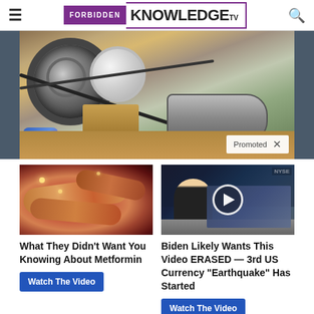FORBIDDEN KNOWLEDGE TV
[Figure (photo): Close-up of mechanical parts including a large ball bearing, pulley, and cylindrical components on sandy ground with vegetation in background. Promoted advertisement badge with X close button in lower right.]
[Figure (photo): Close-up medical illustration of intestines/digestive organs in reddish-brown tones with glowing particles.]
What They Didn't Want You Knowing About Metformin
Watch The Video
[Figure (screenshot): News broadcast screenshot with man in suit at desk, NYSE ticker board in background, and a play button overlay. NYSE label visible in top right.]
Biden Likely Wants This Video ERASED — 3rd US Currency "Earthquake" Has Started
Watch The Video